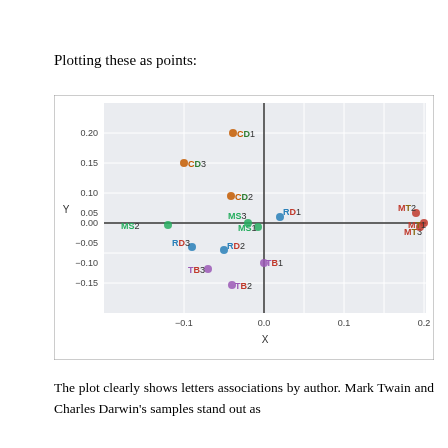Plotting these as points:
[Figure (scatter-plot): Scatter plot of letter associations by author. Points labeled CD1, CD2, CD3 (upper left quadrant), MT2, MT3, MT1 (far right), MS2, MS3, MS1 (near origin left), RD1 (right of center), RD2, RD3 (lower left), TB1, TB2, TB3 (lower center).]
The plot clearly shows letters associations by author. Mark Twain and Charles Darwin's samples stand out as